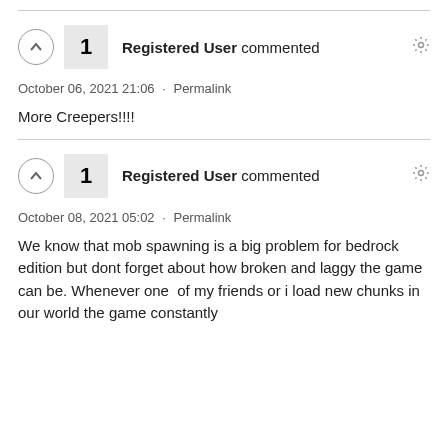Registered User commented · October 06, 2021 21:06 · Permalink
More Creepers!!!!
Registered User commented · October 08, 2021 05:02 · Permalink
We know that mob spawning is a big problem for bedrock edition but dont forget about how broken and laggy the game can be. Whenever one  of my friends or i load new chunks in our world the game constantly